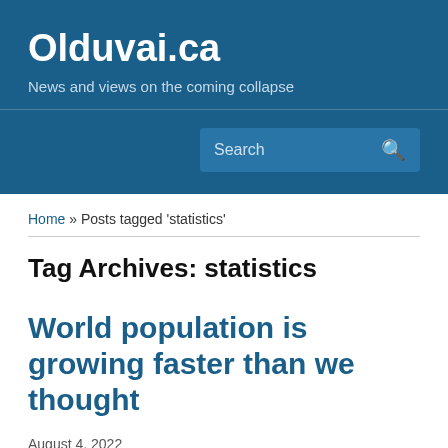Olduvai.ca
News and views on the coming collapse
Search
Home » Posts tagged 'statistics'
Tag Archives: statistics
World population is growing faster than we thought
August 4, 2022